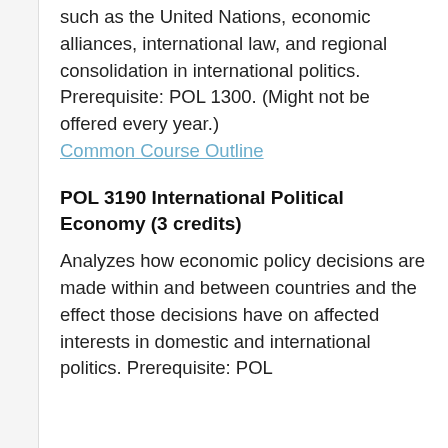such as the United Nations, economic alliances, international law, and regional consolidation in international politics. Prerequisite: POL 1300. (Might not be offered every year.)
Common Course Outline
POL 3190 International Political Economy (3 credits)
Analyzes how economic policy decisions are made within and between countries and the effect those decisions have on affected interests in domestic and international politics. Prerequisite: POL